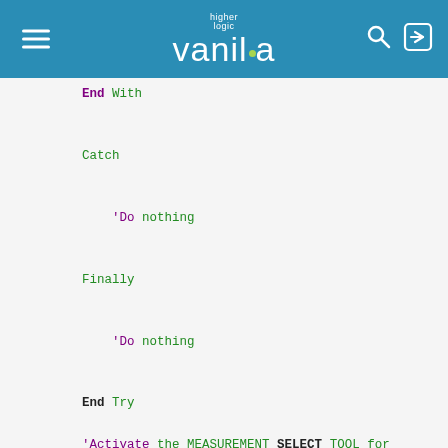[Figure (screenshot): Higher Logic Vanilla community platform header bar with hamburger menu, Vanilla logo, search icon, and login icon on a blue background]
End With

Catch

    'Do nothing

Finally

    'Do nothing

End Try

'Activate the MEASUREMENT SELECT TOOL for
With Measure.Measurements.ToolsCommands.S
    .Tool = eMMTool.SelectionTool
    .Run(ThisApplication.ActiveDocument)
End With

End Sub